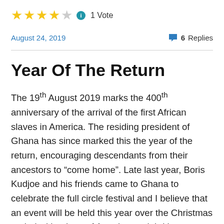[Figure (other): Star rating: 4 out of 5 stars with info icon and '1 Vote' label]
August 24, 2019 | 6 Replies
Year Of The Return
The 19th August 2019 marks the 400th anniversary of the arrival of the first African slaves in America. The residing president of Ghana has since marked this the year of the return, encouraging descendants from their ancestors to “come home”. Late last year, Boris Kudjoe and his friends came to Ghana to celebrate the full circle festival and I believe that an event will be held this year over the Christmas period with a host of American celebrities celebrating in the country which many of their ancestors